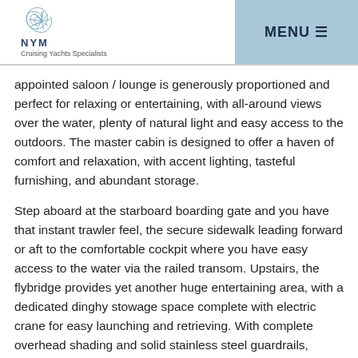NYM Cruising Yachts Specialists | MENU
appointed saloon / lounge is generously proportioned and perfect for relaxing or entertaining, with all-around views over the water, plenty of natural light and easy access to the outdoors. The master cabin is designed to offer a haven of comfort and relaxation, with accent lighting, tasteful furnishing, and abundant storage.
Step aboard at the starboard boarding gate and you have that instant trawler feel, the secure sidewalk leading forward or aft to the comfortable cockpit where you have easy access to the water via the railed transom. Upstairs, the flybridge provides yet another huge entertaining area, with a dedicated dinghy stowage space complete with electric crane for easy launching and retrieving. With complete overhead shading and solid stainless steel guardrails, entertaining on